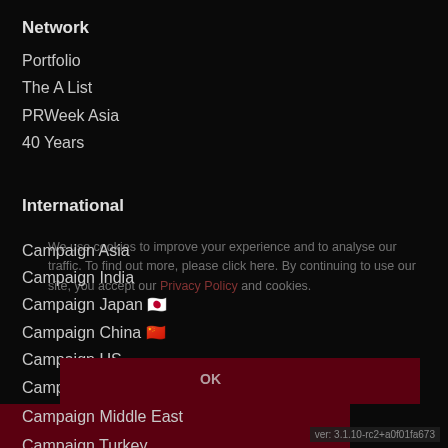Network
Portfolio
The A List
PRWeek Asia
40 Years
International
Campaign Asia
Campaign India
Campaign Japan 🇯🇵
Campaign China 🇨🇳
Campaign US
Campaign UK
Campaign Middle East
Campaign Turkey
We use cookies to improve your experience and to analyse our traffic. To find out more, please click here. By continuing to use our site, you accept our Privacy Policy and cookies.
ver: 3.1.10-rc2+a0f01fa673